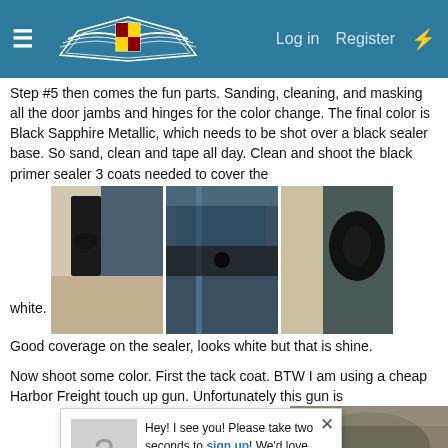Cadillac Power Group forum header with hamburger menu, Cadillac logo, Log in, Register, and lightning bolt icon
Step #5 then comes the fun parts. Sanding, cleaning, and masking all the door jambs and hinges for the color change. The final color is Black Sapphire Metallic, which needs to be shot over a black sealer base. So sand, clean and tape all day. Clean and shoot the black primer sealer 3 coats needed to cover the white.
[Figure (photo): Three side-by-side photos showing door jambs being masked and primed with black sealer]
Good coverage on the sealer, looks white but that is shine.
Now shoot some color. First the tack coat. BTW I am using a cheap Harbor Freight touch up gun. Unfortunately this gun is discontinued, too bad works great for jambs for $15.
[Figure (photo): Partial photo on right edge and two bottom photos showing color being applied]
[Figure (screenshot): Popup overlay: Hey! I see you! Please take two seconds to sign up! We'd love to have you as a member of our Cadillac Power Group. You have nothing to lose and so much to gain... :)]